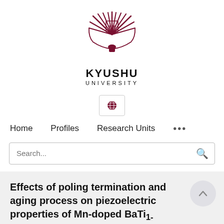[Figure (logo): Kyushu University logo: dark red/maroon sunburst emblem with stylized feathers and central symbol]
KYUSHU UNIVERSITY
[Figure (other): Globe/language selector icon button]
Home   Profiles   Research Units   ...
Search...
Effects of poling termination and aging process on piezoelectric properties of Mn-doped BaTi1-xZrxO3 ceramics